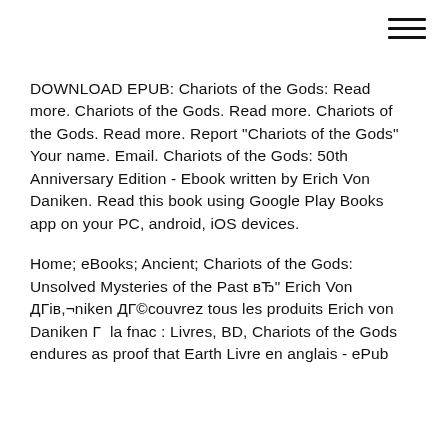[Figure (other): Hamburger menu icon (three horizontal lines) in top-right corner]
DOWNLOAD EPUB: Chariots of the Gods: Read more. Chariots of the Gods. Read more. Chariots of the Gods. Read more. Report "Chariots of the Gods" Your name. Email. Chariots of the Gods: 50th Anniversary Edition - Ebook written by Erich Von Daniken. Read this book using Google Play Books app on your PC, android, iOS devices.
Home; eBooks; Ancient; Chariots of the Gods: Unsolved Mysteries of the Past вЂ" Erich Von ДГів,¬niken ДГ©couvrez tous les produits Erich von Daniken Г  la fnac : Livres, BD, Chariots of the Gods endures as proof that Earth Livre en anglais - ePub